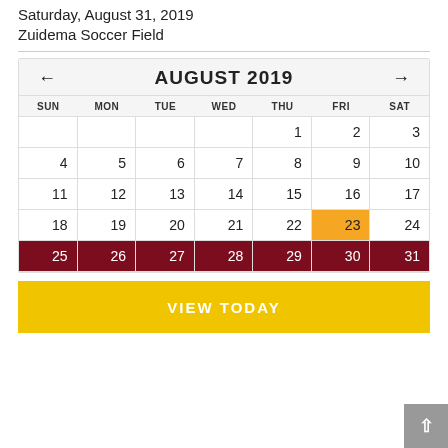Saturday, August 31, 2019
Zuidema Soccer Field
[Figure (other): August 2019 calendar widget with navigation arrows, days of week header (SUN-SAT), and dates 1-31. Dates 25-31 highlighted in maroon/dark red. Date 23 highlighted in gold/orange. Dates 1-24 in standard white/grey. Navigation arrows on left and right of month header.]
VIEW TODAY